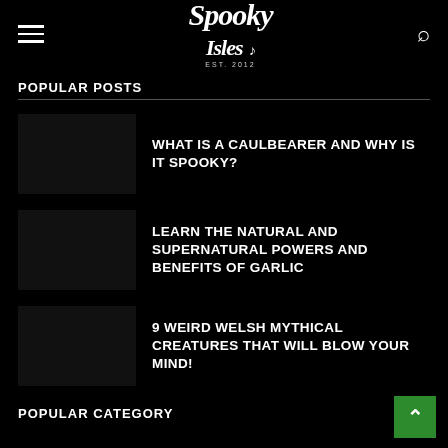Spooky Isles
POPULAR POSTS
WHAT IS A CAULBEARER AND WHY IS IT SPOOKY?
LEARN THE NATURAL AND SUPERNATURAL POWERS AND BENEFITS OF GARLIC
9 WEIRD WELSH MYTHICAL CREATURES THAT WILL BLOW YOUR MIND!
POPULAR CATEGORY